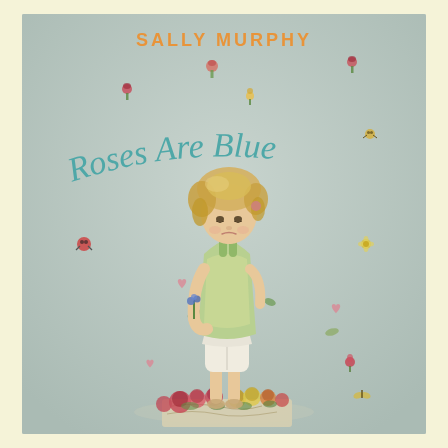[Figure (illustration): Book cover of 'Roses Are Blue' by Sally Murphy. A young girl with curly blonde hair, wearing a green top and white shorts, stands on a pile of colorful flowers and a drawing/card. She holds a small blue flower and looks downward sadly. Scattered around her are small illustrated flowers, hearts, leaves, and bugs on a muted blue-grey background. The author name 'SALLY MURPHY' appears in orange at the top, and the title 'Roses Are Blue' appears in teal/blue curved lettering across the middle.]